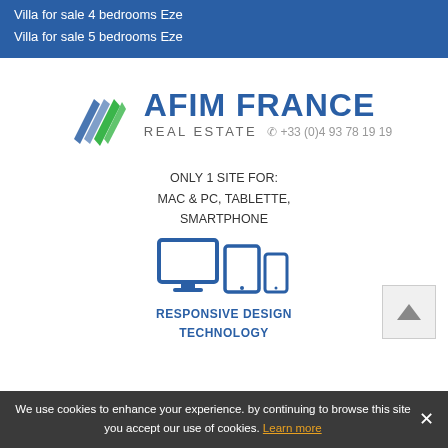Villa for sale 4 bedrooms Eze
Villa for sale 5 bedrooms Eze
[Figure (logo): AFIM France Real Estate logo with triangular mountain/arrow icon in blue and green, company name AFIM FRANCE in bold blue, REAL ESTATE in grey, phone +33 (0)4 93 78 19 19]
ONLY 1 SITE FOR:
MAC & PC, TABLETTE,
SMARTPHONE
[Figure (illustration): Icons of desktop monitor, tablet, and smartphone in blue representing responsive design]
RESPONSIVE DESIGN
TECHNOLOGY
We use cookies to enhance your experience. by continuing to browse this site you accept our use of cookies. Learn more